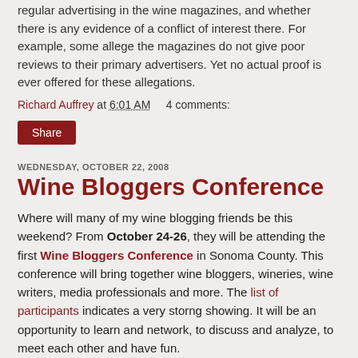regular advertising in the wine magazines, and whether there is any evidence of a conflict of interest there. For example, some allege the magazines do not give poor reviews to their primary advertisers. Yet no actual proof is ever offered for these allegations.
Richard Auffrey at 6:01 AM    4 comments:
Share
WEDNESDAY, OCTOBER 22, 2008
Wine Bloggers Conference
Where will many of my wine blogging friends be this weekend? From October 24-26, they will be attending the first Wine Bloggers Conference in Sonoma County. This conference will bring together wine bloggers, wineries, wine writers, media professionals and more. The list of participants indicates a very storng showing. It will be an opportunity to learn and network, to discuss and analyze, to meet each other and have fun.